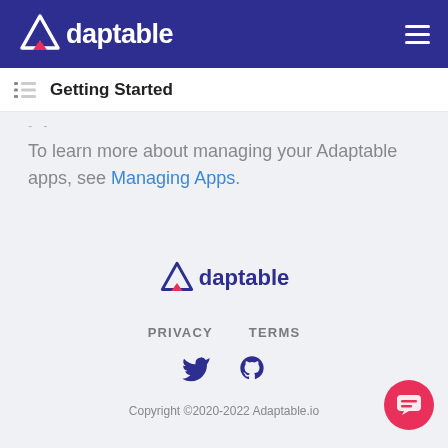Adaptable
Getting Started
To learn more about managing your Adaptable apps, see Managing Apps.
[Figure (logo): Adaptable logo in footer]
PRIVACY   TERMS
Copyright ©2020-2022 Adaptable.io